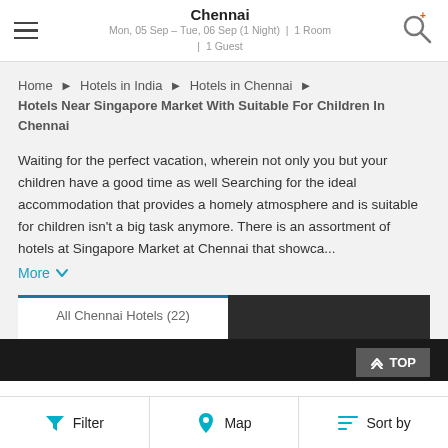Chennai
Mon, 05 Sep – Tue, 06 Sep (1 Night) | 1 Room | 1 Guest
Home > Hotels in India > Hotels in Chennai > Hotels Near Singapore Market With Suitable For Children In Chennai
Hotels Near Singapore Market With Suitable For Children In Chennai
Waiting for the perfect vacation, wherein not only you but your children have a good time as well Searching for the ideal accommodation that provides a homely atmosphere and is suitable for children isn't a big task anymore. There is an assortment of hotels at Singapore Market at Chennai that showca...
More
All Chennai Hotels (22)
[Figure (screenshot): Hotel image strip showing dark background with Grand logo in yellow]
Filter | Map | Sort by